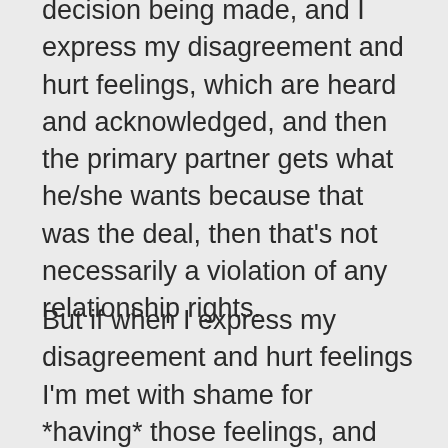decision being made, and I express my disagreement and hurt feelings, which are heard and acknowledged, and then the primary partner gets what he/she wants because that was the deal, then that's not necessarily a violation of any relationship rights.
But if when I express my disagreement and hurt feelings I'm met with shame for *having* those feelings, and admonitions not to express them because I'm secondary and I agreed to that, then that violates my right in a relationship to feel all my emotions,